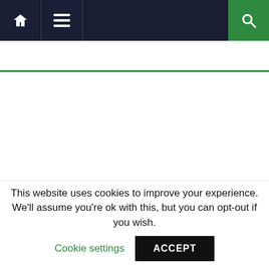Navigation bar with home, menu, and search icons
RELATED ARTICLES
This website uses cookies to improve your experience. We'll assume you're ok with this, but you can opt-out if you wish. Cookie settings ACCEPT